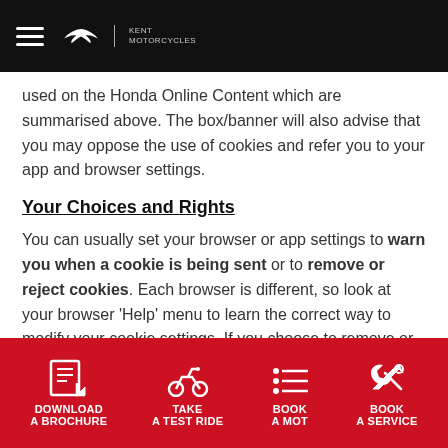Honda Kent Motorcycles
used on the Honda Online Content which are summarised above. The box/banner will also advise that you may oppose the use of cookies and refer you to your app and browser settings.
Your Choices and Rights
You can usually set your browser or app settings to warn you when a cookie is being sent or to remove or reject cookies. Each browser is different, so look at your browser ‘Help’ menu to learn the correct way to modify your cookie settings. If you choose to remove or reject cookies, it may affect features or services on our
DOWNLOAD A BROCHURE | TAKE A TEST RIDE | BOOK A MOT | BOOK A SERVICE